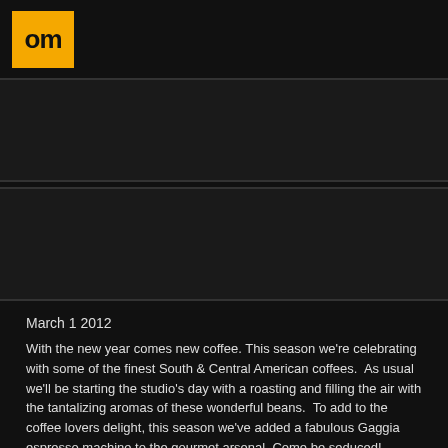[Figure (logo): Yellow square logo with 'om' text in black]
[Figure (photo): Dark image block 1]
[Figure (photo): Dark image block 2]
March 1 2012
With the new year comes new coffee. This season we’re celebrating with some of the finest South & Central American coffees.  As usual we’ll be starting the studio’s day with a roasting and filling the air with the tantalizing aromas of these wonderful beans.  To add to the coffee lovers delight, this season we’ve added a fabulous Gaggia espresso machine to the gourmet arsenal. Come be seduced!
The coffees: